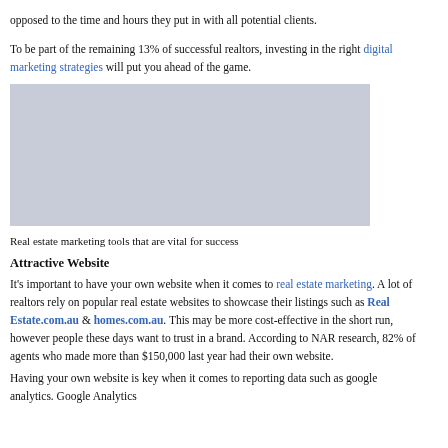opposed to the time and hours they put in with all potential clients.
To be part of the remaining 13% of successful realtors, investing in the right digital marketing strategies will put you ahead of the game.
[Figure (other): Gray placeholder image rectangle]
Real estate marketing tools that are vital for success
Attractive Website
It's important to have your own website when it comes to real estate marketing. A lot of realtors rely on popular real estate websites to showcase their listings such as Real Estate.com.au & homes.com.au. This may be more cost-effective in the short run, however people these days want to trust in a brand. According to NAR research, 82% of agents who made more than $150,000 last year had their own website.
Having your own website is key when it comes to reporting data such as google analytics. Google Analytics